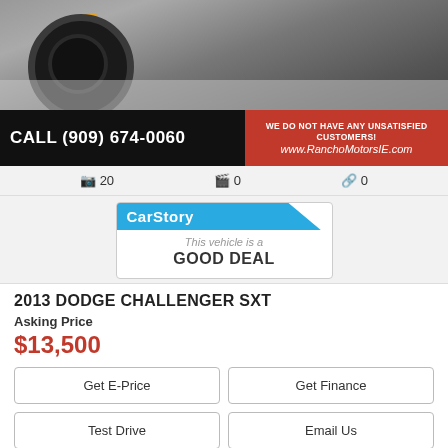[Figure (photo): Photo of a dark car showing wheel/tire close-up, with banner overlay showing phone number and website for Rancho Motors IE dealership]
📷 20   🎬 0   🔗 0
[Figure (infographic): CarStory badge indicating 'This vehicle is a GOOD DEAL']
2013 DODGE CHALLENGER SXT
Asking Price
$13,500
Get E-Price
Get Finance
Test Drive
Email Us
Make An Offer
▶ Stock Num: DH569507   ▶ Mileage: 161,237